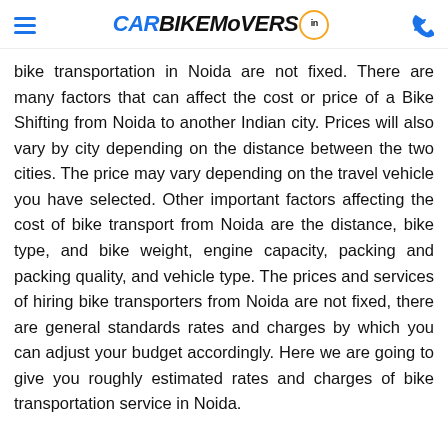CarBikeMovers.in
bike transportation in Noida are not fixed. There are many factors that can affect the cost or price of a Bike Shifting from Noida to another Indian city. Prices will also vary by city depending on the distance between the two cities. The price may vary depending on the travel vehicle you have selected. Other important factors affecting the cost of bike transport from Noida are the distance, bike type, and bike weight, engine capacity, packing and packing quality, and vehicle type. The prices and services of hiring bike transporters from Noida are not fixed, there are general standards rates and charges by which you can adjust your budget accordingly. Here we are going to give you roughly estimated rates and charges of bike transportation service in Noida.